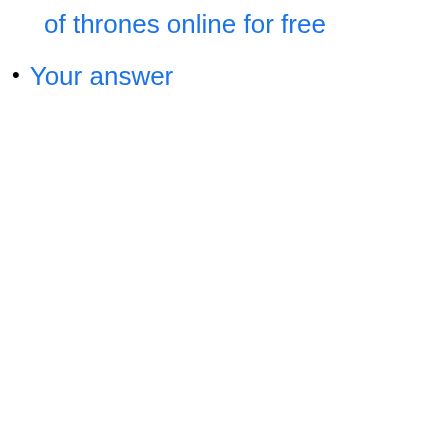of thrones online for free
Your answer